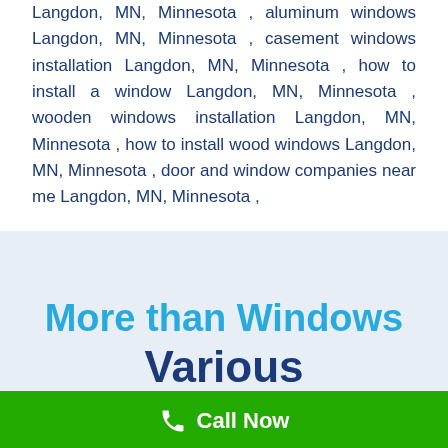Langdon, MN, Minnesota , aluminum windows Langdon, MN, Minnesota , casement windows installation Langdon, MN, Minnesota , how to install a window Langdon, MN, Minnesota , wooden windows installation Langdon, MN, Minnesota , how to install wood windows Langdon, MN, Minnesota , door and window companies near me Langdon, MN, Minnesota ,
More than Windows
Various
Install...
Call Now